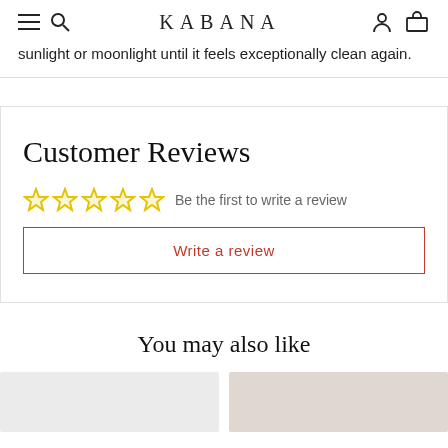KABANA
sunlight or moonlight until it feels exceptionally clean again.
Customer Reviews
Be the first to write a review
Write a review
You may also like